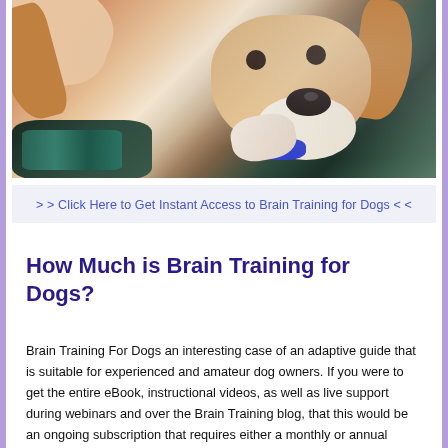[Figure (photo): A person kissing/nuzzling a beagle dog, close-up portrait showing the dog's face and floppy ears with warm brown tones]
> > Click Here to Get Instant Access to Brain Training for Dogs < <
How Much is Brain Training for Dogs?
Brain Training For Dogs an interesting case of an adaptive guide that is suitable for experienced and amateur dog owners. If you were to get the entire eBook, instructional videos, as well as live support during webinars and over the Brain Training blog, that this would be an ongoing subscription that requires either a monthly or annual payment to participate in.